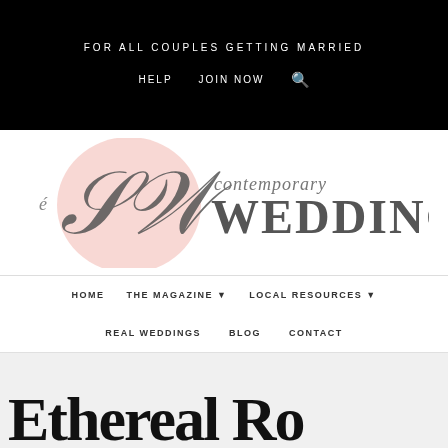FOR ALL COUPLES GETTING MARRIED
HELP   JOIN NOW   🔍
[Figure (logo): Contemporary Weddings logo with pink watercolor circle and cursive 'cw' script with serif WEDDINGS text]
HOME   THE MAGAZINE ▾   LOCAL RESOURCES ▾
REAL WEDDINGS   BLOG   CONTACT
Ethereal Romantic Wedding...